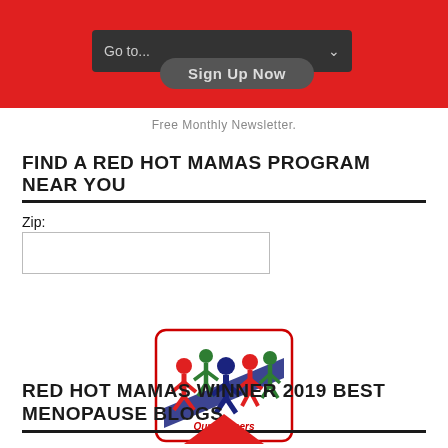Go to... Sign Up Now
Free Monthly Newsletter.
FIND A RED HOT MAMAS PROGRAM NEAR YOU
Zip:
[Figure (illustration): Our Partners logo with colorful paper chain figures (red, green, blue) holding hands, with text 'Our Partners' below, inside a rounded rectangle border]
RED HOT MAMAS WINNER 2019 BEST MENOPAUSE BLOGS